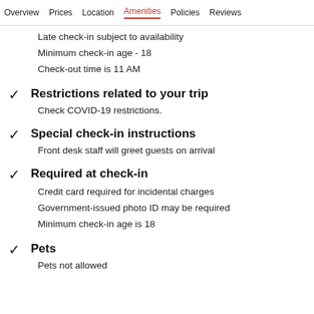Overview  Prices  Location  Amenities  Policies  Reviews
Late check-in subject to availability
Minimum check-in age - 18
Check-out time is 11 AM
Restrictions related to your trip
Check COVID-19 restrictions.
Special check-in instructions
Front desk staff will greet guests on arrival
Required at check-in
Credit card required for incidental charges
Government-issued photo ID may be required
Minimum check-in age is 18
Pets
Pets not allowed